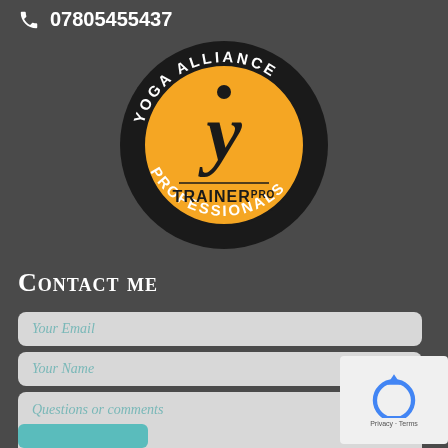07805455437
[Figure (logo): Yoga Alliance Professionals Trainer Pro circular badge logo — black outer ring with white text reading YOGA ALLIANCE (top arc) and PROFESSIONALS (bottom arc), golden/yellow inner circle with stylized Y figure and text TRAINER PRO]
Contact me
Your Email
Your Name
Questions or comments
[Figure (other): reCAPTCHA widget showing circular arrow icon with Privacy and Terms text below]